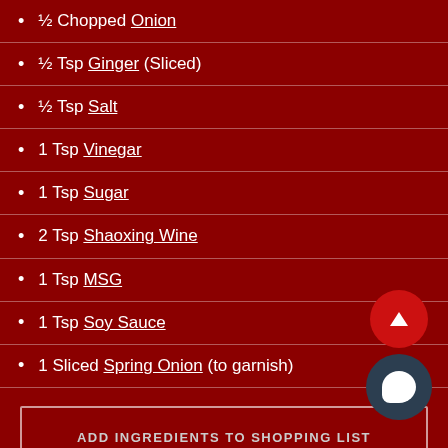½ Chopped Onion
½ Tsp Ginger (Sliced)
½ Tsp Salt
1 Tsp Vinegar
1 Tsp Sugar
2 Tsp Shaoxing Wine
1 Tsp MSG
1 Tsp Soy Sauce
1 Sliced Spring Onion (to garnish)
ADD INGREDIENTS TO SHOPPING LIST
Note: